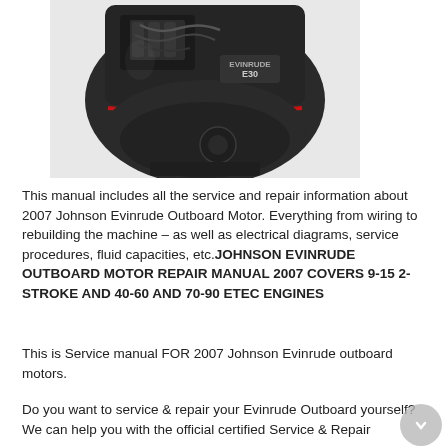[Figure (photo): Photo of a Johnson Evinrude outboard motor with the cowling removed, showing the engine internals, wiring, and a red accent stripe on the motor body.]
This manual includes all the service and repair information about 2007 Johnson Evinrude Outboard Motor. Everything from wiring to rebuilding the machine – as well as electrical diagrams, service procedures, fluid capacities, etc.JOHNSON EVINRUDE OUTBOARD MOTOR REPAIR MANUAL 2007 COVERS 9-15 2-STROKE AND 40-60 AND 70-90 ETEC ENGINES
This is Service manual FOR 2007 Johnson Evinrude outboard motors.
Do you want to service & repair your Evinrude Outboard yourself? We can help you with the official certified Service & Repair